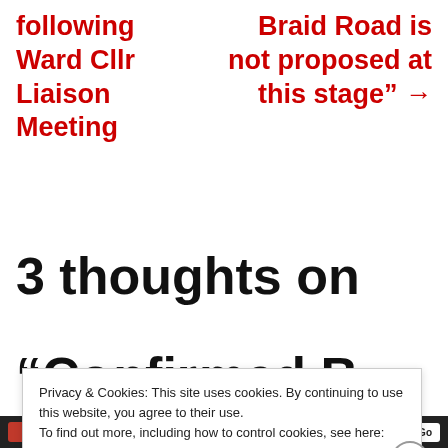following Ward Cllr Liaison Meeting
Braid Road is not proposed at this stage" →
3 thoughts on
"C...fi...d R...
Privacy & Cookies: This site uses cookies. By continuing to use this website, you agree to their use. To find out more, including how to control cookies, see here: Cookie Policy
Close and accept